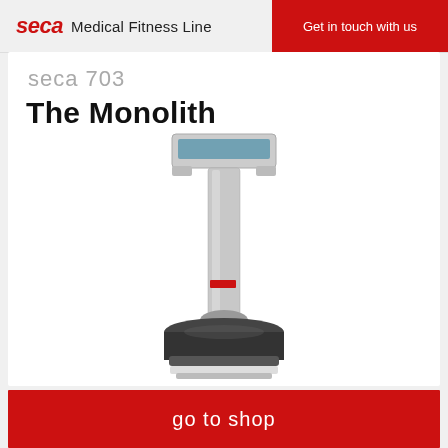seca Medical Fitness Line
Get in touch with us
seca 703
The Monolith
[Figure (photo): seca 703 The Monolith medical column scale with digital display at top, tall silver column, black base platform]
go to shop